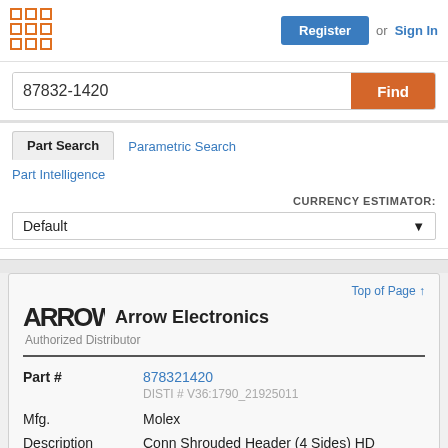Register or Sign In
87832-1420
Part Search | Parametric Search
Part Intelligence
CURRENCY ESTIMATOR: Default
Top of Page ↑
[Figure (logo): Arrow Electronics arrow logo mark followed by text 'Arrow Electronics' and subtitle 'Authorized Distributor']
| Field | Value |
| --- | --- |
| Part # | 878321420 |
|  | DISTI # V36:1790_21925011 |
| Mfg. | Molex |
| Description | Conn Shrouded Header (4 Sides) HD |